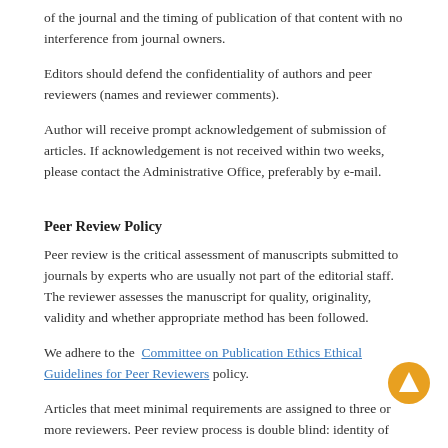of the journal and the timing of publication of that content with no interference from journal owners.
Editors should defend the confidentiality of authors and peer reviewers (names and reviewer comments).
Author will receive prompt acknowledgement of submission of articles. If acknowledgement is not received within two weeks, please contact the Administrative Office, preferably by e-mail.
Peer Review Policy
Peer review is the critical assessment of manuscripts submitted to journals by experts who are usually not part of the editorial staff. The reviewer assesses the manuscript for quality, originality, validity and whether appropriate method has been followed.
We adhere to the Committee on Publication Ethics Ethical Guidelines for Peer Reviewers policy.
Articles that meet minimal requirements are assigned to three or more reviewers. Peer review process is double blind: identity of